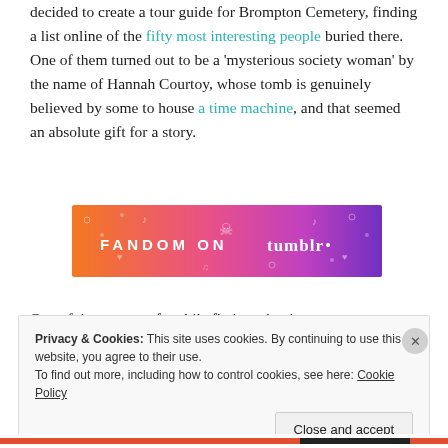decided to create a tour guide for Brompton Cemetery, finding a list online of the fifty most interesting people buried there. One of them turned out to be a 'mysterious society woman' by the name of Hannah Courtoy, whose tomb is genuinely believed by some to house a time machine, and that seemed an absolute gift for a story.
[Figure (infographic): Fandom on Tumblr advertisement banner with orange-to-purple gradient background and decorative doodles]
One of the aspects of mobile fictions that interests me
Privacy & Cookies: This site uses cookies. By continuing to use this website, you agree to their use. To find out more, including how to control cookies, see here: Cookie Policy
Close and accept